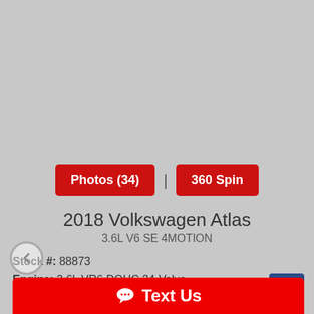[Figure (photo): Gray placeholder area for vehicle photo]
Photos (34)
360 Spin
2018 Volkswagen Atlas
3.6L V6 SE 4MOTION
Stock #: 88873
Engine: 3.6L VR6 DOHC 24-Valve
Transmission: Automatic
Drive Train: AWD
Text Us